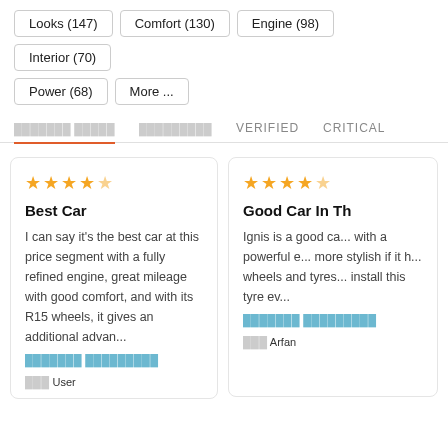Looks (147)
Comfort (130)
Engine (98)
Interior (70)
Power (68)
More ...
VERIFIED  CRITICAL
Best Car
I can say it's the best car at this price segment with a fully refined engine, great mileage with good comfort, and with its R15 wheels, it gives an additional advan...
User
Good Car In Th...
Ignis is a good ca... with a powerful e... more stylish if it h... wheels and tyres... install this tyre ev...
Arfan